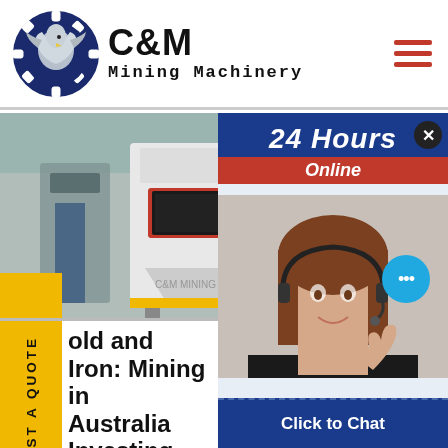[Figure (logo): C&M Mining Machinery logo with eagle/gear icon in navy blue circle, bold black C&M text, and Mining Machinery subtitle in monospace]
[Figure (screenshot): Website screenshot showing mining machinery photo (white machine with red/black panel), 24 Hours Online banner in navy/red, chat agent photo, Click to Chat and Enquiry buttons, and yellow REQUEST A QUOTE side tab]
old and Iron: Mining in Australia Investing
ing in Western Australia today. The industry is a vital economic sector Australia, accounting for more tha the state's annual GDP and employ